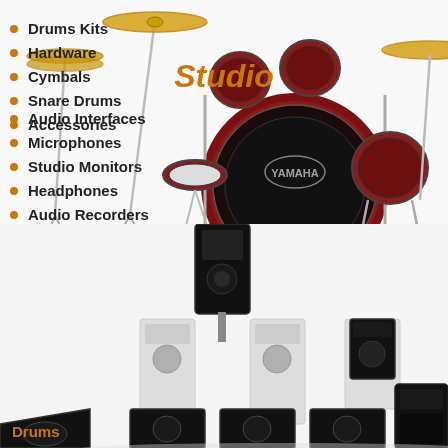[Figure (photo): Yamaha red drum kit with cymbals and hardware stands on white background]
Drums Kits
Hardware
Cymbals
Snare Drums
Accessories
Drums
[Figure (photo): Studio audio equipment including speakers, monitors, audio interfaces arranged on white background]
Studio
Audio Interfaces
Microphones
Studio Monitors
Headphones
Audio Recorders